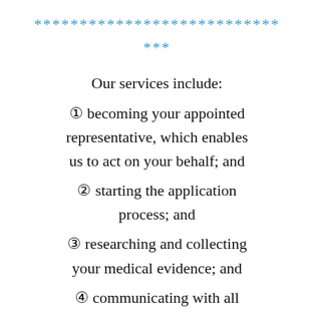*************************** ***
Our services include:
(1) becoming your appointed representative, which enables us to act on your behalf; and
(2) starting the application process; and
(3) researching and collecting your medical evidence; and
(4) communicating with all essential and necessary agencies; and